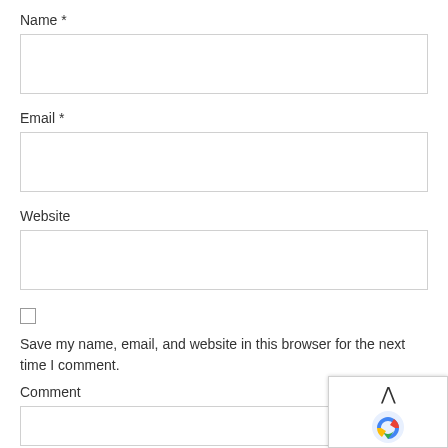Name *
Email *
Website
Save my name, email, and website in this browser for the next time I comment.
Comment